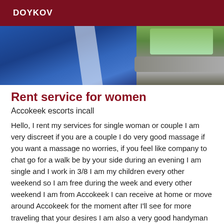DOYKOV
[Figure (photo): Photo showing a person in a blue uniform/clothing with a white stripe, taken inside or near a car with a sunroof visible and greenery outside.]
Rent service for women
Accokeek escorts incall
Hello, I rent my services for single woman or couple I am very discreet if you are a couple I do very good massage if you want a massage no worries, if you feel like company to chat go for a walk be by your side during an evening I am single and I work in 3/8 I am my children every other weekend so I am free during the week and every other weekend I am from Accokeek I can receive at home or move around Accokeek for the moment after I'll see for more traveling that your desires I am also a very good handyman I'm touched at everything